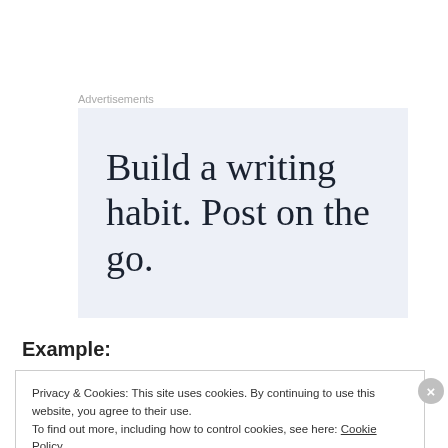Advertisements
[Figure (other): Advertisement banner with light blue-grey background containing the text 'Build a writing habit. Post on the go.' in large serif font]
Example:
Privacy & Cookies: This site uses cookies. By continuing to use this website, you agree to their use.
To find out more, including how to control cookies, see here: Cookie Policy
Close and accept